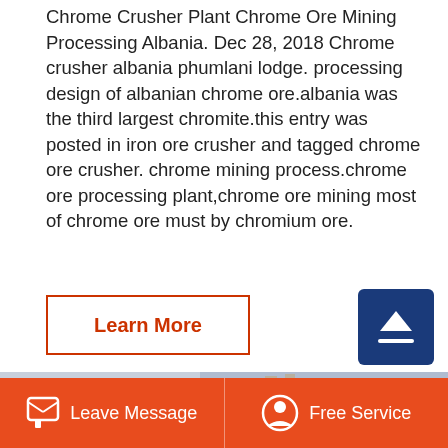Chrome Crusher Plant Chrome Ore Mining Processing Albania. Dec 28, 2018 Chrome crusher albania phumlani lodge. processing design of albanian chrome ore.albania was the third largest chromite.this entry was posted in iron ore crusher and tagged chrome ore crusher. chrome mining process.chrome ore processing plant,chrome ore mining most of chrome ore must by chromium ore.
Learn More
[Figure (photo): Industrial chrome ore crushing machinery/equipment photographed outdoors at a processing plant facility. Multiple large beige/cream colored crusher machines visible with a blue industrial building in the background.]
Leave Message    Free Service